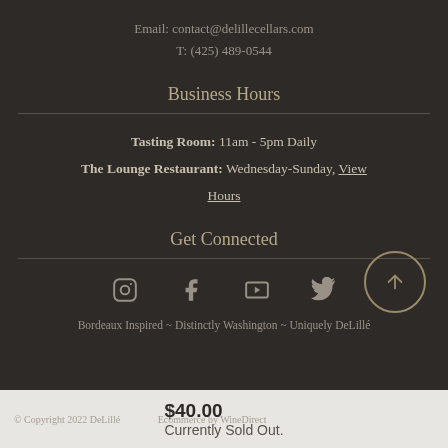Email: contact@delillecellars.com
T: (425) 489-0544
Business Hours
Tasting Room: 11am - 5pm Daily
The Lounge Restaurant: Wednesday-Sunday, View Hours
Get Connected
[Figure (infographic): Social media icons: Instagram, Facebook, YouTube, Twitter, and a scroll-to-top circular button]
Bordeaux Inspired ~ Distinctly Washington ~ Uniquely DeLillé
© Copyright 2022 DeLillé  Ecommerce by WineDirect
$40.00
Currently Sold Out.